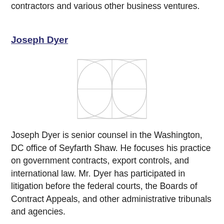contractors and various other business ventures.
Joseph Dyer
[Figure (logo): Placeholder image with stylized leaf/petal pattern in a 2x2 grid, light gray outline style]
Joseph Dyer is senior counsel in the Washington, DC office of Seyfarth Shaw. He focuses his practice on government contracts, export controls, and international law. Mr. Dyer has participated in litigation before the federal courts, the Boards of Contract Appeals, and other administrative tribunals and agencies.